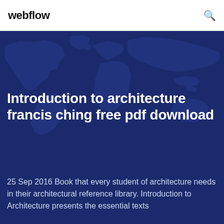webflow
[Figure (illustration): World map silhouette in dark blue tones used as hero background image]
Introduction to architecture francis ching free pdf download
25 Sep 2016 Book that every student of architecture needs in their architectural reference library. Introduction to Architecture presents the essential texts